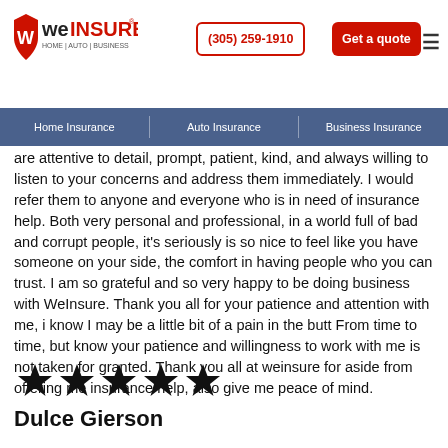We Insure | (305) 259-1910 | Get a quote
Home Insurance | Auto Insurance | Business Insurance
are attentive to detail, prompt, patient, kind, and always willing to listen to your concerns and address them immediately. I would refer them to anyone and everyone who is in need of insurance help. Both very personal and professional, in a world full of bad and corrupt people, it's seriously is so nice to feel like you have someone on your side, the comfort in having people who you can trust. I am so grateful and so very happy to be doing business with WeInsure. Thank you all for your patience and attention with me, i know I may be a little bit of a pain in the butt From time to time, but know your patience and willingness to work with me is not taken for granted. Thank you all at weinsure for aside from offering me insurance help, also give me peace of mind.
[Figure (other): Five black star rating icons]
Dulce Gierson